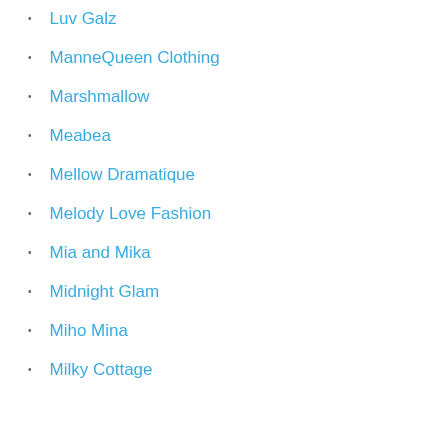Luv Galz
ManneQueen Clothing
Marshmallow
Meabea
Mellow Dramatique
Melody Love Fashion
Mia and Mika
Midnight Glam
Miho Mina
Milky Cottage